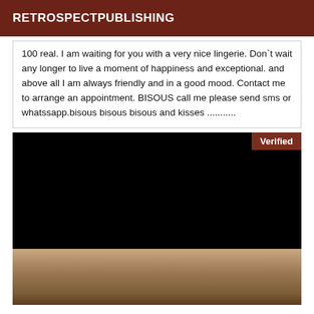RETROSPECTPUBLISHING
100 real. I am waiting for you with a very nice lingerie. Don`t wait any longer to live a moment of happiness and exceptional. and above all I am always friendly and in a good mood. Contact me to arrange an appointment. BISOUS call me please send sms or whatssapp.bisous bisous bisous and kisses ...........
[Figure (photo): Dark/black image area with a Verified badge in the top right corner, and a partial photo of a person below.]